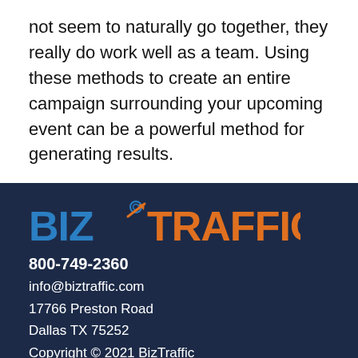not seem to naturally go together, they really do work well as a team. Using these methods to create an entire campaign surrounding your upcoming event can be a powerful method for generating results.
[Figure (logo): BizTraffic logo with blue 'BIZ' text and orange 'TRAFFIC' text and an arrow/wifi icon]
800-749-2360
info@biztraffic.com
17766 Preston Road
Dallas TX 75252
Copyright © 2021 BizTraffic
This site is protected by reCAPTCHA and the Google Privacy Policy and Terms of Service apply.